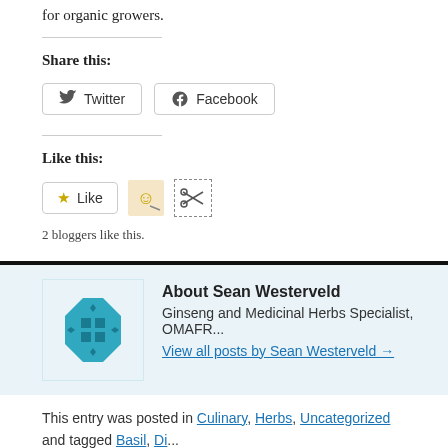for organic growers.
Share this:
[Figure (screenshot): Twitter and Facebook share buttons]
Like this:
[Figure (screenshot): Like button with star icon, avatar icon, and scissors icon. 2 bloggers like this.]
2 bloggers like this.
About Sean Westerveld
Ginseng and Medicinal Herbs Specialist, OMAFR...
View all posts by Sean Westerveld →
This entry was posted in Culinary, Herbs, Uncategorized and tagged Basil, Di... Bookmark the permalink.